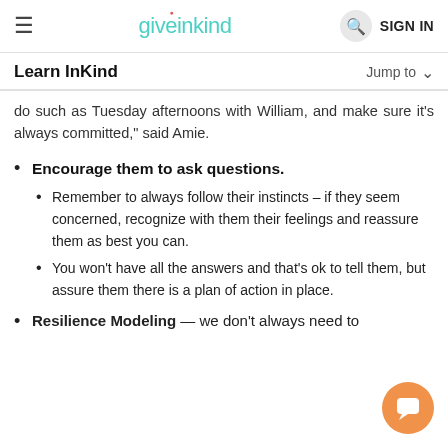giveinkind  SIGN IN
Learn InKind  Jump to
do such as Tuesday afternoons with William, and make sure it's always committed," said Amie.
Encourage them to ask questions.
Remember to always follow their instincts – if they seem concerned, recognize with them their feelings and reassure them as best you can.
You won't have all the answers and that's ok to tell them, but assure them there is a plan of action in place.
Resilience Modeling — we don't always need to